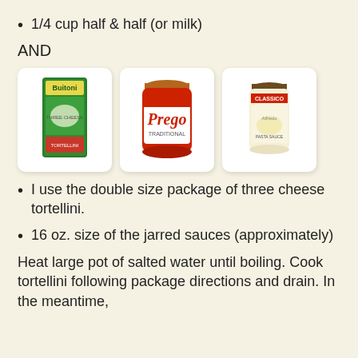1/4 cup half & half (or milk)
AND
[Figure (photo): Three product images side by side: Buitoni three cheese tortellini package, Prego Traditional pasta sauce jar, and Classico pasta sauce jar]
I use the double size package of three cheese tortellini.
16 oz. size of the jarred sauces (approximately)
Heat large pot of salted water until boiling. Cook tortellini following package directions and drain. In the meantime,